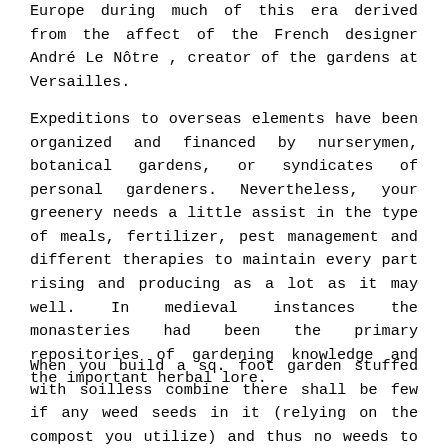Europe during much of this era derived from the affect of the French designer André Le Nôtre , creator of the gardens at Versailles.
Expeditions to overseas elements have been organized and financed by nurserymen, botanical gardens, or syndicates of personal gardeners. Nevertheless, your greenery needs a little assist in the type of meals, fertilizer, pest management and different therapies to maintain every part rising and producing as a lot as it may well. In medieval instances the monasteries had been the primary repositories of gardening knowledge and the important herbal lore.
When you build a sq. foot garden stuffed with soilless combine there shall be few if any weed seeds in it (relying on the compost you utilize) and thus no weeds to tug for the first season. Quick to set up. Square foot gardening is a fast option to begin a brand new garden (especially with the